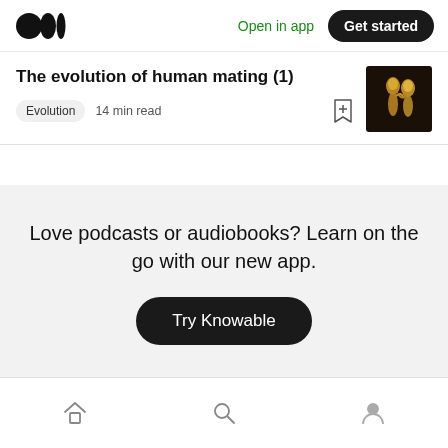Medium logo | Open in app | Get started
The evolution of human mating (1)
Evolution  14 min read
[Figure (photo): Thumbnail image of two intertwined golden figurines on a dark background]
Love podcasts or audiobooks? Learn on the go with our new app.
Try Knowable
Home | Search | Profile